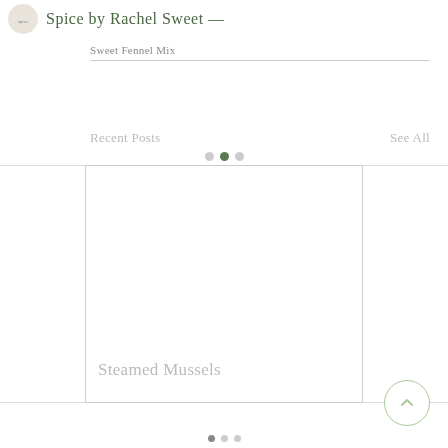Spice by Rachel Sweet —
Sweet Fennel Mix
Recent Posts
See All
[Figure (screenshot): A carousel card showing a recipe post titled 'Steamed Mussels' with a blank/empty image area above the title. Carousel pagination dots are shown above and below the card.]
Steamed Mussels